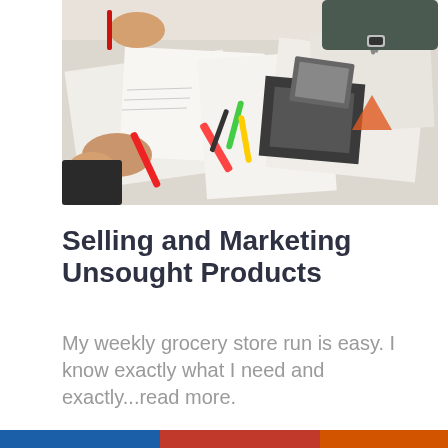[Figure (photo): Overhead view of people working at a table covered with papers, photos, magazines, notebooks, and colorful markers. Hands are visible holding pens and scissors, engaged in creative or marketing planning work.]
Selling and Marketing Unsought Products
My weekly grocery store run is easy. I know exactly what I need and exactly...read more.